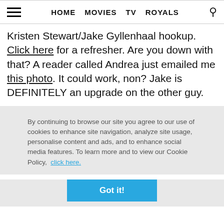HOME  MOVIES  TV  ROYALS
Kristen Stewart/Jake Gyllenhaal hookup. Click here for a refresher. Are you down with that? A reader called Andrea just emailed me this photo. It could work, non? Jake is DEFINITELY an upgrade on the other guy.
By continuing to browse our site you agree to our use of cookies to enhance site navigation, analyze site usage, personalise content and ads, and to enhance social media features. To learn more and to view our Cookie Policy, click here.
Got it!